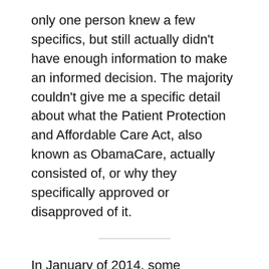only one person knew a few specifics, but still actually didn't have enough information to make an informed decision. The majority couldn't give me a specific detail about what the Patient Protection and Affordable Care Act, also known as ObamaCare, actually consisted of, or why they specifically approved or disapproved of it.
In January of 2014, some important provisions will become available under ObamaCare, some of which need to be prepared for beginning in October of this year. So, it's important to have a basic idea of some of those provisions and how they will affect those here in California.